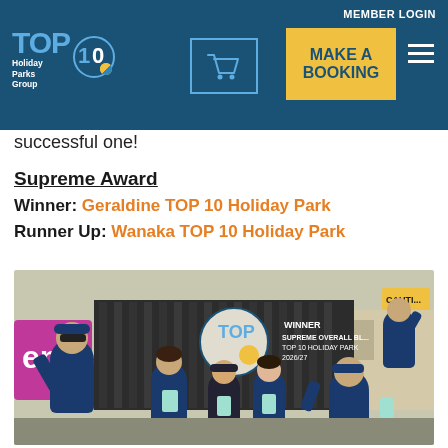MEMBER LOGIN | MAKE A BOOKING
successful one!
Supreme Award
Winner: Geraldine TOP 10 Holiday Park
Runner Up: Wanaka TOP 10 Holiday Park
[Figure (photo): Group of six people in navy uniforms celebrating outside, holding glass trophies, with a TOP 10 Holiday Parks sign showing WINNER SUPREME OVERALL in the background. Some members are giving thumbs up and waving.]